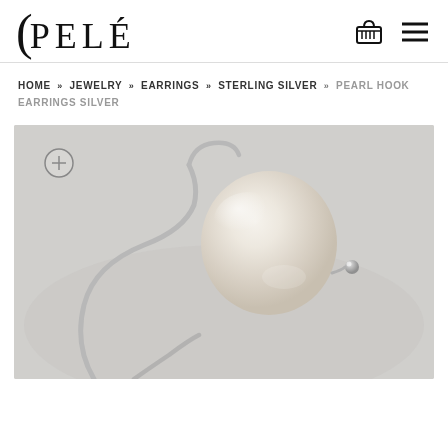PELÉ
HOME » JEWELRY » EARRINGS » STERLING SILVER » PEARL HOOK EARRINGS SILVER
[Figure (photo): Close-up photo of pearl hook earrings on a light grey background. A sterling silver wire hook earring with a large round white/cream pearl and a small silver ball accent is visible.]